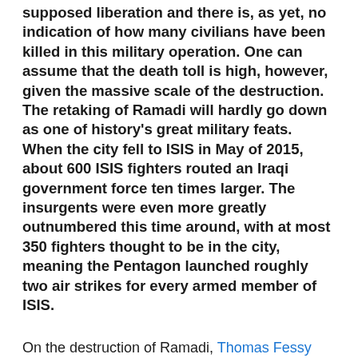supposed liberation and there is, as yet, no indication of how many civilians have been killed in this military operation. One can assume that the death toll is high, however, given the massive scale of the destruction. The retaking of Ramadi will hardly go down as one of history's great military feats. When the city fell to ISIS in May of 2015, about 600 ISIS fighters routed an Iraqi government force ten times larger. The insurgents were even more greatly outnumbered this time around, with at most 350 fighters thought to be in the city, meaning the Pentagon launched roughly two air strikes for every armed member of ISIS.
On the destruction of Ramadi, Thomas Fessy (BBC News) notes:
Ramadi is a city that has been sacrificed in battle.